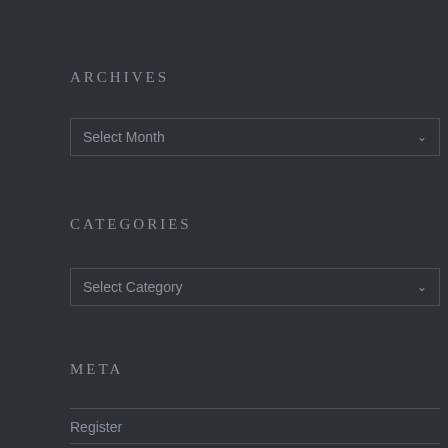ARCHIVES
[Figure (screenshot): Dropdown selector showing 'Select Month' with a chevron arrow on the right, styled with a dark background and border]
CATEGORIES
[Figure (screenshot): Dropdown selector showing 'Select Category' with a chevron arrow on the right, styled with a dark background and border]
META
Register
Log in